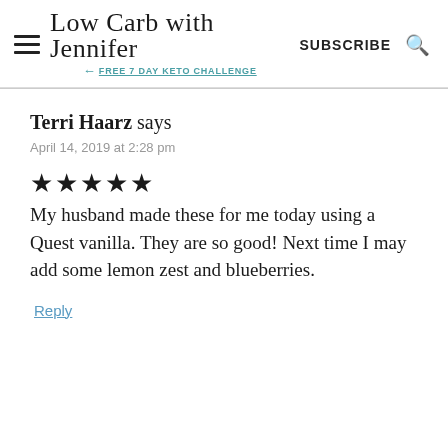Low Carb with Jennifer — FREE 7 DAY KETO CHALLENGE — SUBSCRIBE
Terri Haarz says
April 14, 2019 at 2:28 pm
★★★★★ My husband made these for me today using a Quest vanilla. They are so good! Next time I may add some lemon zest and blueberries.
Reply